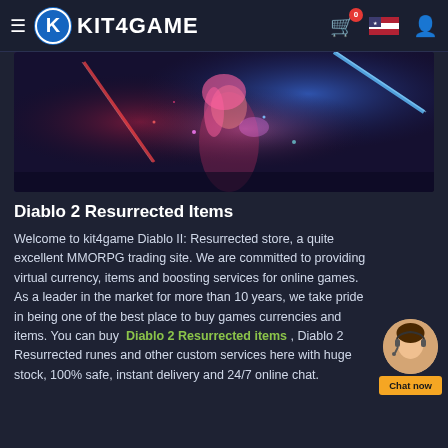KIT4GAME
[Figure (illustration): Fantasy action game hero image showing an anime-style female warrior with pink hair wielding glowing weapons against a dark background]
Diablo 2 Resurrected Items
Welcome to kit4game Diablo II: Resurrected store, a quite excellent MMORPG trading site. We are committed to providing virtual currency, items and boosting services for online games. As a leader in the market for more than 10 years, we take pride in being one of the best place to buy games currencies and items. You can buy Diablo 2 Resurrected items , Diablo 2 Resurrected runes and other custom services here with huge stock, 100% safe, instant delivery and 24/7 online chat.